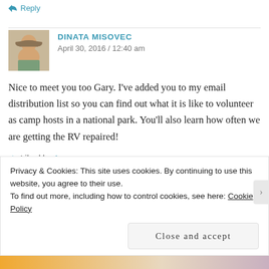↩ Reply
DINATA MISOVEC
April 30, 2016 / 12:40 am
Nice to meet you too Gary. I've added you to my email distribution list so you can find out what it is like to volunteer as camp hosts in a national park. You'll also learn how often we are getting the RV repaired!
★ Liked by 1 person
Privacy & Cookies: This site uses cookies. By continuing to use this website, you agree to their use.
To find out more, including how to control cookies, see here: Cookie Policy
Close and accept